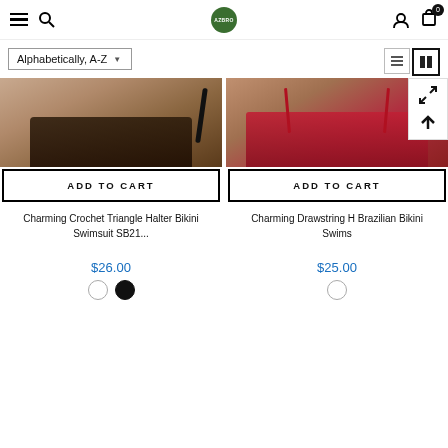Navigation bar with menu, search, logo, user account, and cart (0 items)
Alphabetically, A-Z
[Figure (photo): Bottom portion of a model wearing a dark brown string bikini bottom on a beach background]
[Figure (photo): Bottom portion of a model wearing a red strappy bikini bottom on a light background]
ADD TO CART
ADD TO CART
Charming Crochet Triangle Halter Bikini Swimsuit SB21...
Charming Drawstring H Brazilian Bikini Swims
$26.00
$25.00